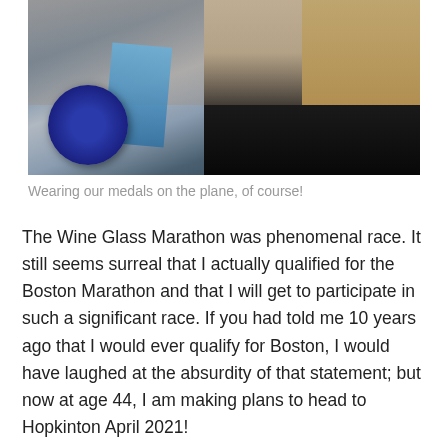[Figure (photo): A person holding up a blue marathon medal with a blue ribbon lanyard, wearing a dark turtleneck and a gold cross necklace, with blonde hair visible. The background appears to be an airplane interior.]
Wearing our medals on the plane, of course!
The Wine Glass Marathon was phenomenal race. It still seems surreal that I actually qualified for the Boston Marathon and that I will get to participate in such a significant race. If you had told me 10 years ago that I would ever qualify for Boston, I would have laughed at the absurdity of that statement; but now at age 44, I am making plans to head to Hopkinton April 2021!